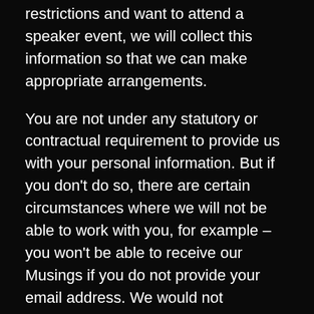restrictions and want to attend a speaker event, we will collect this information so that we can make appropriate arrangements.
You are not under any statutory or contractual requirement to provide us with your personal information. But if you don't do so, there are certain circumstances where we will not be able to work with you, for example – you won't be able to receive our Musings if you do not provide your email address. We would not necessarily be able to cater for a special dietary requirement at a speaker event if we were not pre-warned that it existed.
3. Sources of personal information
We will collect your personal information predominantly directly from you and your interaction